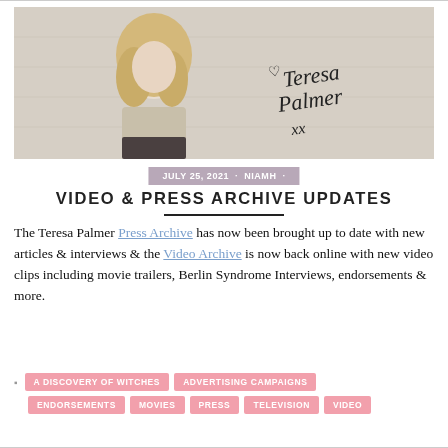[Figure (photo): Banner photo of Teresa Palmer, a blonde woman seated against a white brick wall, with a handwritten signature overlay reading 'Teresa Palmer xx']
JULY 25, 2021 · NIAMH ·
VIDEO & PRESS ARCHIVE UPDATES
The Teresa Palmer Press Archive has now been brought up to date with new articles & interviews & the Video Archive is now back online with new video clips including movie trailers, Berlin Syndrome Interviews, endorsements & more.
A DISCOVERY OF WITCHES
ADVERTISING CAMPAIGNS
ENDORSEMENTS
MOVIES
PRESS
TELEVISION
VIDEO